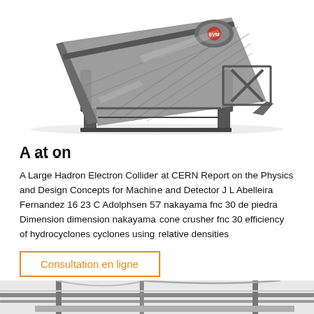[Figure (photo): Industrial vibrating screen / sieve machine, grey metallic, photographed from front-left angle on white background]
A at on
A Large Hadron Electron Collider at CERN Report on the Physics and Design Concepts for Machine and Detector J L Abelleira Fernandez 16 23 C Adolphsen 57 nakayama fnc 30 de piedra Dimension dimension nakayama cone crusher fnc 30 efficiency of hydrocyclones cyclones using relative densities
Consultation en ligne
[Figure (photo): Industrial conveyor or screening machine, photographed close-up from front, grey metal structure visible]